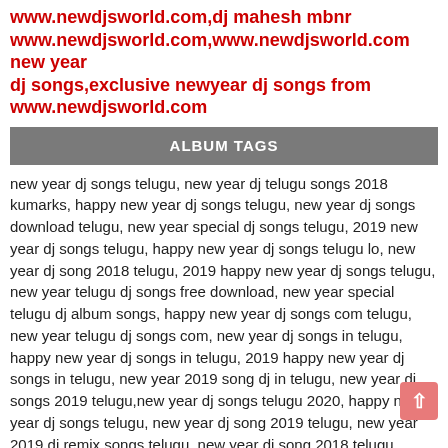www.newdjsworld.com,dj mahesh mbnr www.newdjsworld.com,www.newdjsworld.com new year dj songs,exclusive newyear dj songs from www.newdjsworld.com
ALBUM TAGS
new year dj songs telugu, new year dj telugu songs 2018 kumarks, happy new year dj songs telugu, new year dj songs download telugu, new year special dj songs telugu, 2019 new year dj songs telugu, happy new year dj songs telugu lo, new year dj song 2018 telugu, 2019 happy new year dj songs telugu, new year telugu dj songs free download, new year special telugu dj album songs, happy new year dj songs com telugu, new year telugu dj songs com, new year dj songs in telugu, happy new year dj songs in telugu, 2019 happy new year dj songs in telugu, new year 2019 song dj in telugu, new year dj songs 2019 telugu,new year dj songs telugu 2020, happy new year dj songs telugu, new year dj song 2019 telugu, new year 2019 dj remix songs telugu, new year dj song 2018 telugu, happy new year telugu songs dj, new year special telugu dj songs 2019,telugu folk dj songs download 2019 mp3, telugu folk dj songs download 2018, telugu folk dj songs